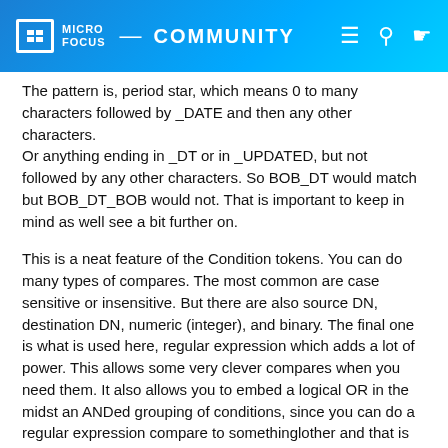MICRO FOCUS — COMMUNITY
The pattern is, period star, which means 0 to many characters followed by _DATE and then any other characters.
Or anything ending in _DT or in _UPDATED, but not followed by any other characters. So BOB_DT would match but BOB_DT_BOB would not. That is important to keep in mind as well see a bit further on.
This is a neat feature of the Condition tokens. You can do many types of compares. The most common are case sensitive or insensitive. But there are also source DN, destination DN, numeric (integer), and binary. The final one is what is used here, regular expression which adds a lot of power. This allows some very clever compares when you need them. It also allows you to embed a logical OR in the midst an ANDed grouping of conditions, since you can do a regular expression compare to somethinglother and that is an OR test. Really a powerful simple addition, that is great to have in your back pocket.
It must be nice when your schema is so well defined to have those strings in the name of all time formats, but that does not seem very common or likely in most cases. Looking at the Schema Map for this driver, none of them actually have that in the attribute name, and none of the native eDirectory attributes do either. Interesting, not